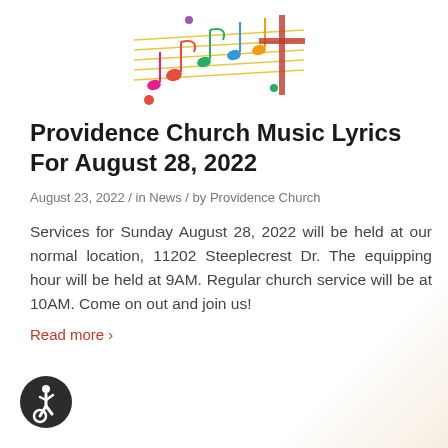[Figure (illustration): Colorful music notes and musical staff decorative illustration with a cross/instrument silhouette]
Providence Church Music Lyrics For August 28, 2022
August 23, 2022 / in News / by Providence Church
Services for Sunday August 28, 2022 will be held at our normal location, 11202 Steeplecrest Dr. The equipping hour will be held at 9AM. Regular church service will be at 10AM. Come on out and join us!
Read more ›
[Figure (logo): International Symbol of Access (wheelchair accessibility icon) in a dark circle]